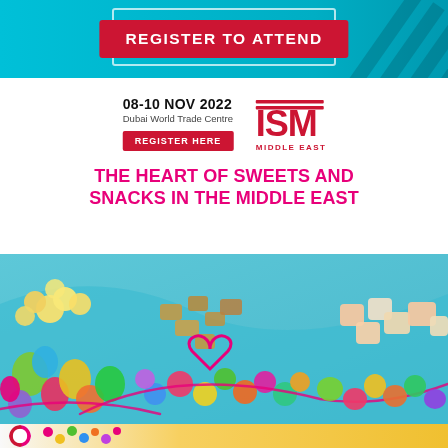[Figure (illustration): Top cyan banner with diagonal dark stripe pattern on right side and a red 'REGISTER TO ATTEND' button]
REGISTER TO ATTEND
08-10 NOV 2022
Dubai World Trade Centre
[Figure (logo): ISM MIDDLE EAST logo in red/magenta]
REGISTER HERE
THE HEART OF SWEETS AND SNACKS IN THE MIDDLE EAST
[Figure (photo): Photo of assorted colorful sweets, candies, gummies, and snacks on a cyan/light blue background with a pink heart drawn in the center]
[Figure (photo): Bottom partial banner with colorful lollipops and candies on the left transitioning to a golden/yellow background on the right]